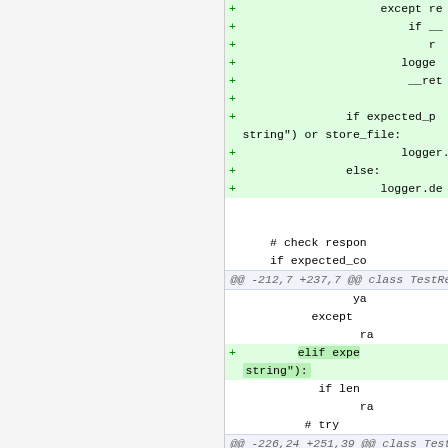[Figure (screenshot): A code diff view showing two columns (left/right) of Python source code changes. The right side shows added lines (green background) with + markers including 'except re', 'if __', 'r', 'logge', '__ret', 'if expected_p', 'string") or store_file:', 'logger.de', 'else:', 'logger.de'. Below a separator both columns show neutral lines '# check respon', 'if expected_co'. A diff hunk header '@@ -212,7 +237,7 @@ class TestRest:' appears. More code lines follow including 'ya', 'except', 'ra', a removed line 'elif expec' on left and added '+ elif expe' on right with highlighted 'string"):' on right. Lines 'if len', 'ra', '# try:' follow. Another hunk header '@@ -226,24 +251,39 @@ class TestRest:' and 'if len' at the bottom.]